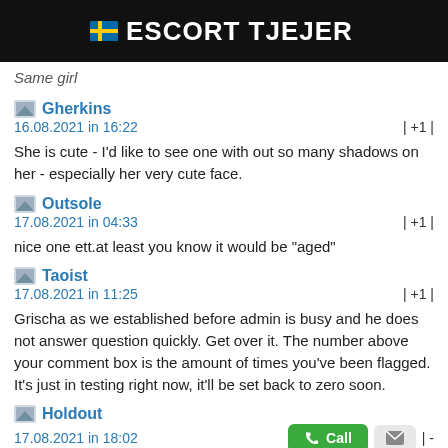🇸🇪 ESCORT TJEJER
Same girl
Gherkins
16.08.2021 in 16:22  | +1 |
She is cute - I'd like to see one with out so many shadows on her - especially her very cute face.
Outsole
17.08.2021 in 04:33  | +1 |
nice one ett.at least you know it would be "aged"
Taoist
17.08.2021 in 11:25  | +1 |
Grischa as we established before admin is busy and he does not answer question quickly. Get over it. The number above your comment box is the amount of times you've been flagged. It's just in testing right now, it'll be set back to zero soon.
Holdout
17.08.2021 in 18:02